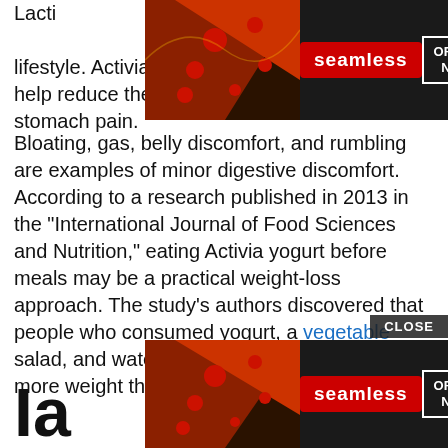Lacti... [partially obscured by ad] twice... diet and healthy lifestyle. Activia is a probiotic yogurt that may help reduce the frequency of moderate stomach pain.
[Figure (screenshot): Seamless pizza delivery advertisement banner with dark background, pizza image on left, red Seamless logo in center, ORDER NOW button on right]
Bloating, gas, belly discomfort, and rumbling are examples of minor digestive discomfort. According to a research published in 2013 in the “International Journal of Food Sciences and Nutrition,” eating Activia yogurt before meals may be a practical weight-loss approach. The study’s authors discovered that people who consumed yogurt, a vegetable salad, and water 15 minutes before dinner lost more weight than those who did not.
[Figure (screenshot): Second Seamless pizza delivery advertisement banner with CLOSE button, ORDER NOW button]
Ia...